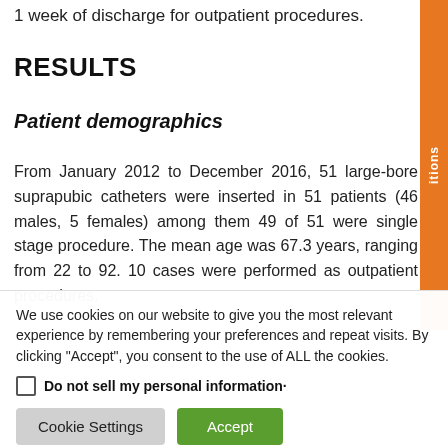1 week of discharge for outpatient procedures.
RESULTS
Patient demographics
From January 2012 to December 2016, 51 large-bore suprapubic catheters were inserted in 51 patients (46 males, 5 females) among them 49 of 51 were single stage procedure. The mean age was 67.3 years, ranging from 22 to 92. 10 cases were performed as outpatient procedures,
We use cookies on our website to give you the most relevant experience by remembering your preferences and repeat visits. By clicking "Accept", you consent to the use of ALL the cookies.
Do not sell my personal information·